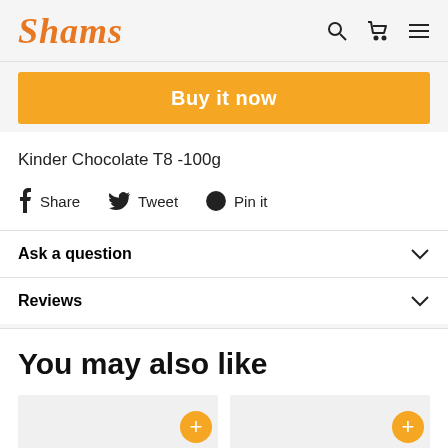Shams
Buy it now
Kinder Chocolate T8 -100g
Share   Tweet   Pin it
Ask a question
Reviews
You may also like